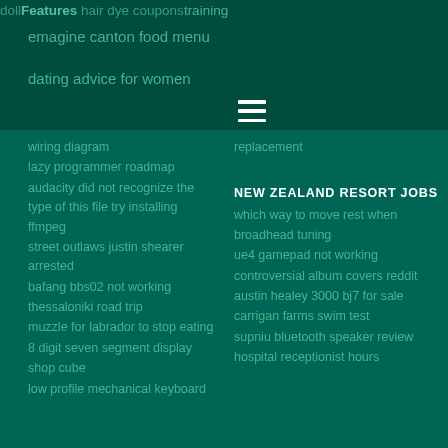dollar general hair dye coupons training emagine canton food menu dating advice for women
wiring diagram
replacement
lazy programmer roadmap
audacity did not recognize the type of this file try installing ffmpeg
street outlaws justin shearer arrested
bafang bbs02 not working
thessaloniki road trip
muzzle for labrador to stop eating
8 digit seven segment display
shop cube
low profile mechanical keyboard
NEW ZEALAND RESORT JOBS
which way to move rest when broadhead tuning
ue4 gamepad not working
controversial album covers reddit
austin healey 3000 bj7 for sale
carrigan farms swim test
supniu bluetooth speaker review
hospital receptionist hours